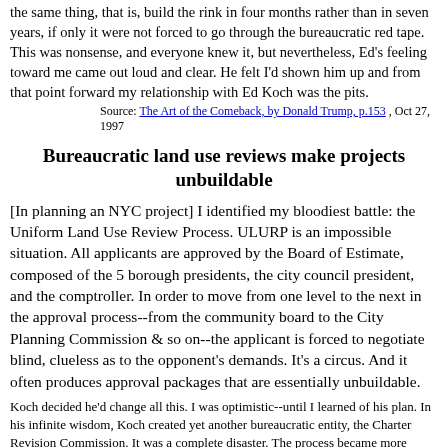the same thing, that is, build the rink in four months rather than in seven years, if only it were not forced to go through the bureaucratic red tape. This was nonsense, and everyone knew it, but nevertheless, Ed's feeling toward me came out loud and clear. He felt I'd shown him up and from that point forward my relationship with Ed Koch was the pits.
Source: The Art of the Comeback, by Donald Trump, p.153 , Oct 27, 1997
Bureaucratic land use reviews make projects unbuildable
[In planning an NYC project] I identified my bloodiest battle: the Uniform Land Use Review Process. ULURP is an impossible situation. All applicants are approved by the Board of Estimate, composed of the 5 borough presidents, the city council president, and the comptroller. In order to move from one level to the next in the approval process--from the community board to the City Planning Commission & so on--the applicant is forced to negotiate blind, clueless as to the opponent's demands. It's a circus. And it often produces approval packages that are essentially unbuildable.
Koch decided he'd change all this. I was optimistic--until I learned of his plan. In his infinite wisdom, Koch created yet another bureaucratic entity, the Charter Revision Commission. It was a complete disaster. The process became more cumbersome, expensive, and time-consuming than ever. I was appalled. Nothing, I had thought, could have made this process more inefficient, more ill-conceived, but I was wrong.